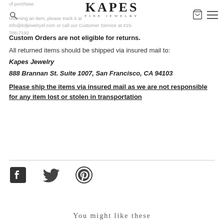KAPES FINE JEWELRY
of purchase
returning an item, please track it at info@kdjewelrysf.com or call our Customer Service at 415-706-7192
Custom Orders are not eligible for returns.
All returned items should be shipped via insured mail to:
Kapes Jewelry
888 Brannan St. Suite 1007, San Francisco, CA 94103
Please ship the items via insured mail as we are not responsible for any item lost or stolen in transportation
[Figure (logo): Social media icons: Facebook, Twitter, Pinterest]
You might like these